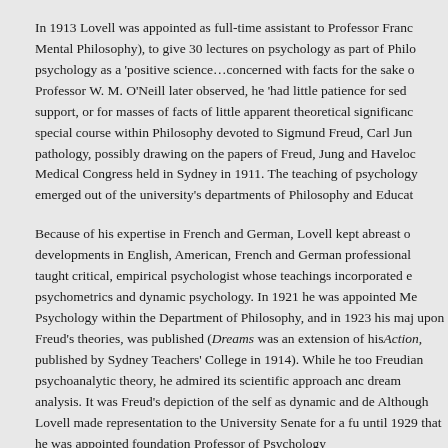In 1913 Lovell was appointed as full-time assistant to Professor Franc Mental Philosophy), to give 30 lectures on psychology as part of Philo psychology as a 'positive science…concerned with facts for the sake o Professor W. M. O'Neill later observed, he 'had little patience for sed support, or for masses of facts of little apparent theoretical significanc special course within Philosophy devoted to Sigmund Freud, Carl Jun pathology, possibly drawing on the papers of Freud, Jung and Haveloc Medical Congress held in Sydney in 1911. The teaching of psychology emerged out of the university's departments of Philosophy and Educat
Because of his expertise in French and German, Lovell kept abreast o developments in English, American, French and German professional taught critical, empirical psychologist whose teachings incorporated e psychometrics and dynamic psychology. In 1921 he was appointed Me Psychology within the Department of Philosophy, and in 1923 his maj upon Freud's theories, was published (Dreams was an extension of his Action, published by Sydney Teachers' College in 1914). While he too Freudian psychoanalytic theory, he admired its scientific approach anc dream analysis. It was Freud's depiction of the self as dynamic and de Although Lovell made representation to the University Senate for a fu until 1929 that he was appointed foundation Professor of Psychology